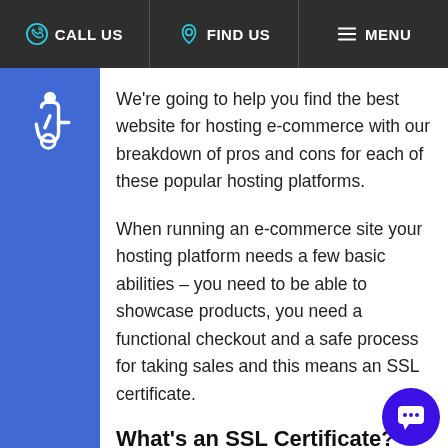CALL US | FIND US | MENU
[Figure (other): Blue accessibility wheelchair icon on blue square background]
We’re going to help you find the best website for hosting e-commerce with our breakdown of pros and cons for each of these popular hosting platforms.
When running an e-commerce site your hosting platform needs a few basic abilities – you need to be able to showcase products, you need a functional checkout and a safe process for taking sales and this means an SSL certificate.
What’s an SSL Certificate?